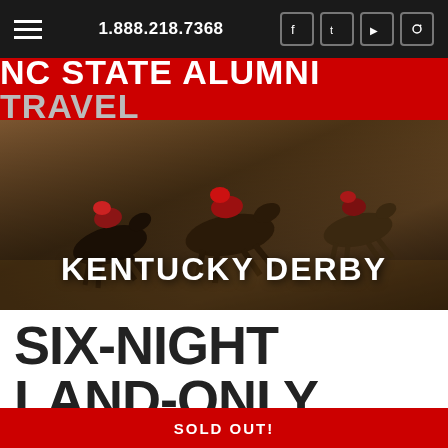1.888.218.7368
NC STATE ALUMNI TRAVEL
[Figure (photo): Aerial view of horse race at Kentucky Derby with jockeys in red and white silks racing on dirt track]
KENTUCKY DERBY
SIX-NIGHT LAND-ONLY (PRE-TOUR INCLUDED)
SOLD OUT!